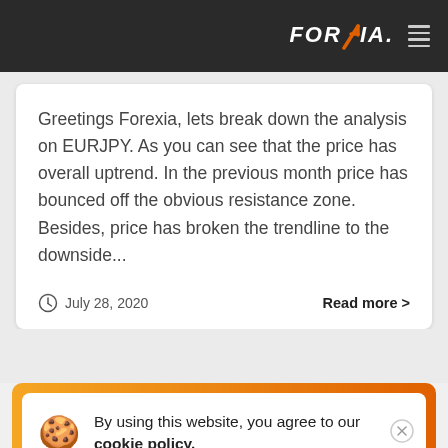FOREXIA
Greetings Forexia, lets break down the analysis on EURJPY. As you can see that the price has overall uptrend. In the previous month price has bounced off the obvious resistance zone. Besides, price has broken the trendline to the downside...
July 28, 2020   Read more >
By using this website, you agree to our cookie policy.